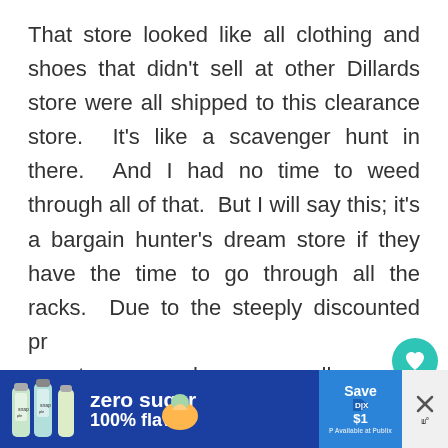That store looked like all clothing and shoes that didn't sell at other Dillards store were all shipped to this clearance store.  It's like a scavenger hunt in there.  And I had no time to weed through all of that.  But I will say this; it's a bargain hunter's dream store if they have the time to go through all the racks.  Due to the steeply discounted prices, no returns or exchanges are allowed.
[Figure (other): UI overlay elements: teal heart button, share icon with pink accent bar, and a 'What's Next' panel with thumbnail showing 'Still Unsure Where to Go...' label]
[Figure (other): Advertisement banner for Snapple zero sugar 100% flavor with Save $1 button and Publix availability note]